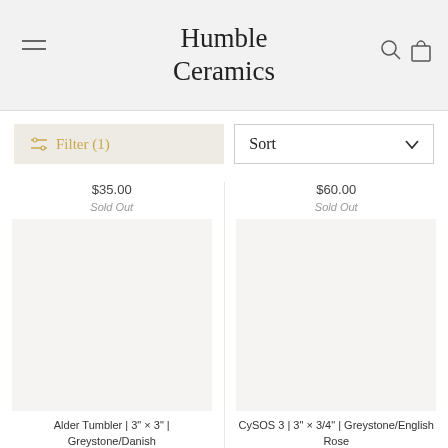Humble Ceramics
Filter (1)
Sort
$35.00
Sold Out
$60.00
Sold Out
[Figure (photo): Product image placeholder for Alder Tumbler]
Alder Tumbler | 3" × 3" | Greystone/Danish
[Figure (photo): Product image placeholder for CySOS 3]
CySOS 3 | 3" × 3/4" | Greystone/English Rose